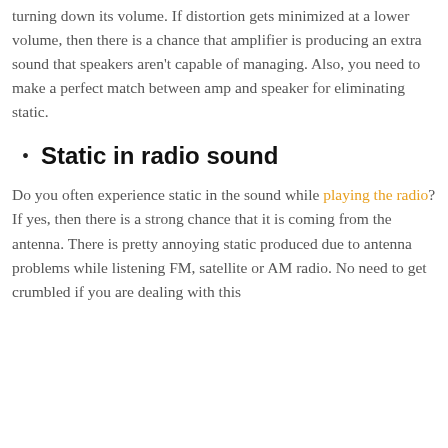turning down its volume. If distortion gets minimized at a lower volume, then there is a chance that amplifier is producing an extra sound that speakers aren't capable of managing. Also, you need to make a perfect match between amp and speaker for eliminating static.
Static in radio sound
Do you often experience static in the sound while playing the radio? If yes, then there is a strong chance that it is coming from the antenna. There is pretty annoying static produced due to antenna problems while listening FM, satellite or AM radio. No need to get crumbled if you are dealing with this